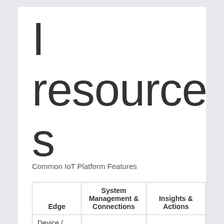resources
Common IoT Platform Features
| Edge | System Management & Connections | Insights & Actions |
| --- | --- | --- |
| Device / User | Cloud | Dashboards / |